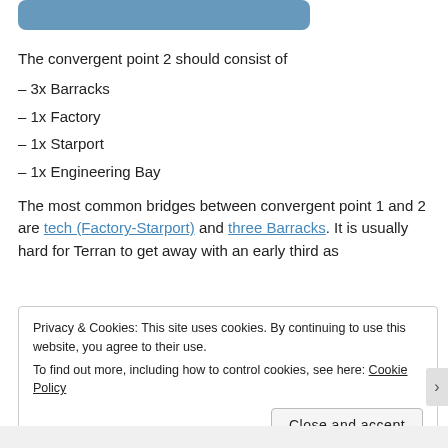[Figure (other): Blue rounded rectangle bar at top of page]
The convergent point 2 should consist of
– 3x Barracks
– 1x Factory
– 1x Starport
– 1x Engineering Bay
The most common bridges between convergent point 1 and 2 are tech (Factory-Starport) and three Barracks. It is usually hard for Terran to get away with an early third as
Privacy & Cookies: This site uses cookies. By continuing to use this website, you agree to their use.
To find out more, including how to control cookies, see here: Cookie Policy
Close and accept